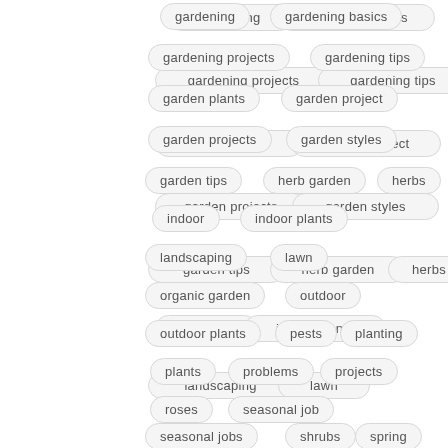gardening
gardening basics
gardening projects
gardening tips
garden plants
garden project
garden projects
garden styles
garden tips
herb garden
herbs
indoor
indoor plants
landscaping
lawn
organic garden
outdoor
outdoor plants
pests
planting
plants
problems
projects
roses
seasonal job
seasonal jobs
shrubs
spring